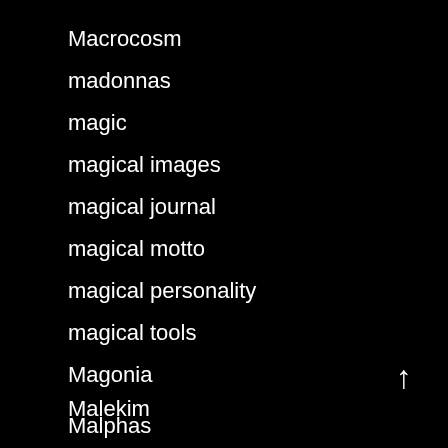Macrocosm
madonnas
magic
magical images
magical journal
magical motto
magical personality
magical tools
Magonia
Malekim
Malphas